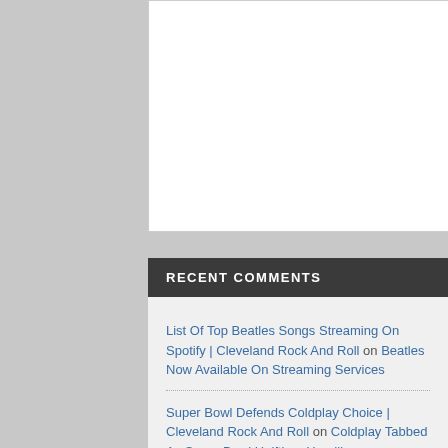[Figure (other): White advertisement/image box placeholder]
RECENT COMMENTS
List Of Top Beatles Songs Streaming On Spotify | Cleveland Rock And Roll on Beatles Now Available On Streaming Services
Super Bowl Defends Coldplay Choice | Cleveland Rock And Roll on Coldplay Tabbed As Super Bowl Halftime Headliners
Bear, ClevelandRockAndRoll - Michael